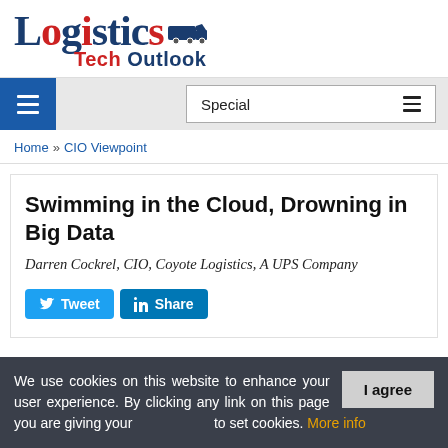[Figure (logo): Logistics Tech Outlook logo with truck graphic, blue and red text]
Navigation bar with hamburger menu and Special dropdown
Home » CIO Viewpoint
Swimming in the Cloud, Drowning in Big Data
Darren Cockrel, CIO, Coyote Logistics, A UPS Company
[Figure (infographic): Tweet and Share social media buttons]
We use cookies on this website to enhance your user experience. By clicking any link on this page you are giving your consent to set cookies. More info